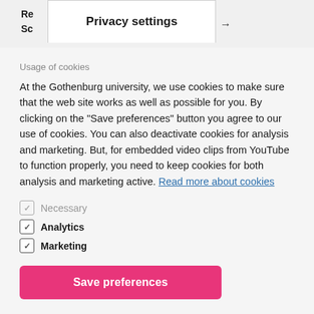Re
Sc
Privacy settings
Usage of cookies
At the Gothenburg university, we use cookies to make sure that the web site works as well as possible for you. By clicking on the "Save preferences" button you agree to our use of cookies. You can also deactivate cookies for analysis and marketing. But, for embedded video clips from YouTube to function properly, you need to keep cookies for both analysis and marketing active. Read more about cookies
Necessary
Analytics
Marketing
Save preferences